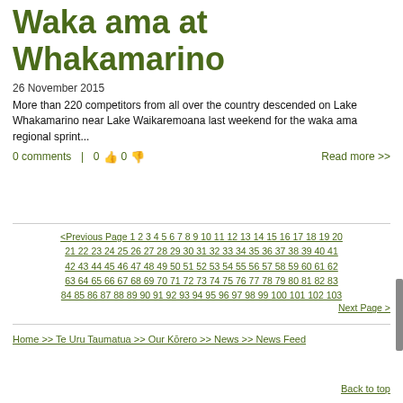Waka ama at Whakamarino
26 November 2015
More than 220 competitors from all over the country descended on Lake Whakamarino near Lake Waikaremoana last weekend for the waka ama regional sprint...
0 comments  |  0  👍  0  👎    Read more >>
<Previous Page 1 2 3 4 5 6 7 8 9 10 11 12 13 14 15 16 17 18 19 20 21 22 23 24 25 26 27 28 29 30 31 32 33 34 35 36 37 38 39 40 41 42 43 44 45 46 47 48 49 50 51 52 53 54 55 56 57 58 59 60 61 62 63 64 65 66 67 68 69 70 71 72 73 74 75 76 77 78 79 80 81 82 83 84 85 86 87 88 89 90 91 92 93 94 95 96 97 98 99 100 101 102 103 Next Page >
Home >> Te Uru Taumatua >> Our Kōrero >> News >> News Feed
Back to top